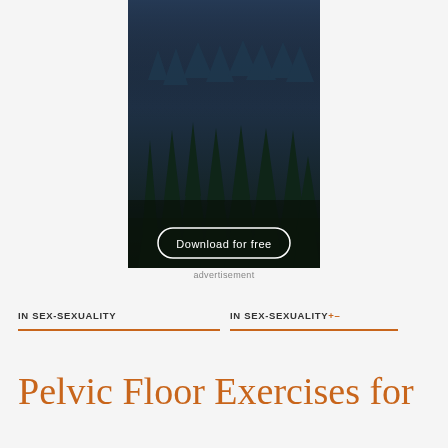[Figure (photo): Advertisement image showing a dark moody forest of tall evergreen trees with misty blue mountains in the background, and a 'Download for free' button at the bottom with a rounded rectangle border]
advertisement
IN SEX-SEXUALITY
IN SEX-SEXUALITY+-
Pelvic Floor Exercises for